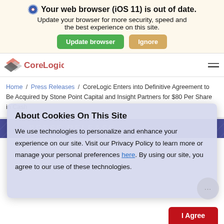Your web browser (iOS 11) is out of date. Update your browser for more security, speed and the best experience on this site.
Update browser | Ignore
[Figure (logo): CoreLogic logo with layered diamond/square shapes in red/gray and coral/pink]
Home / Press Releases / CoreLogic Enters into Definitive Agreement to Be Acquired by Stone Point Capital and Insight Partners for $80 Per Share in Cash
PRESS RELEASE
About Cookies On This Site
We use technologies to personalize and enhance your experience on our site. Visit our Privacy Policy to learn more or manage your personal preferences here. By using our site, you agree to our use of these technologies.
I Agree